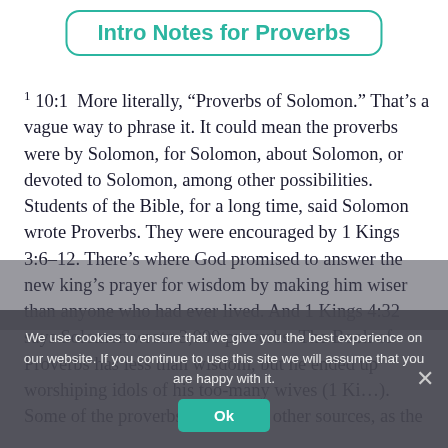Intro Notes for Proverbs
1 10:1  More literally, “Proverbs of Solomon.” That’s a vague way to phrase it. It could mean the proverbs were by Solomon, for Solomon, about Solomon, or devoted to Solomon, among other possibilities. Students of the Bible, for a long time, said Solomon wrote Proverbs. They were encouraged by 1 Kings 3:6‑12. There’s where God promised to answer the new king’s prayer for wisdom by making him wiser than anyone who had ever lived. And 1 Kings 4:32 says Solomon wrote 3,000 proverbs. The Book of Proverbs has less than wisdom, but he ended up worshiping idols of his too-many wives (1 Ki…). Some of the proverbs come from other sources, as the
We use cookies to ensure that we give you the best experience on our website. If you continue to use this site we will assume that you are happy with it.
Ok